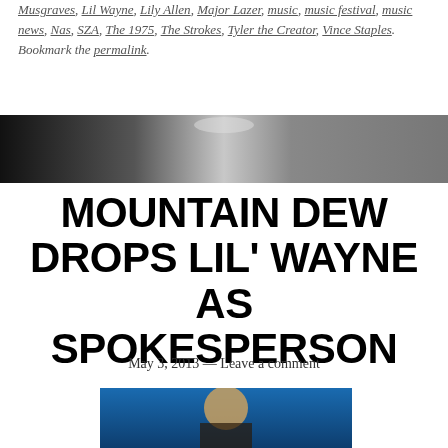Musgraves, Lil Wayne, Lily Allen, Major Lazer, music, music festival, music news, Nas, SZA, The 1975, The Strokes, Tyler the Creator, Vince Staples. Bookmark the permalink.
[Figure (photo): Dark gradient banner strip, black fading to light grey/white in the center]
MOUNTAIN DEW DROPS LIL' WAYNE AS SPOKESPERSON
May 3, 2013 — Leave a comment
[Figure (photo): Photo of Lil Wayne performing on stage, wearing sunglasses on his head, blue background]